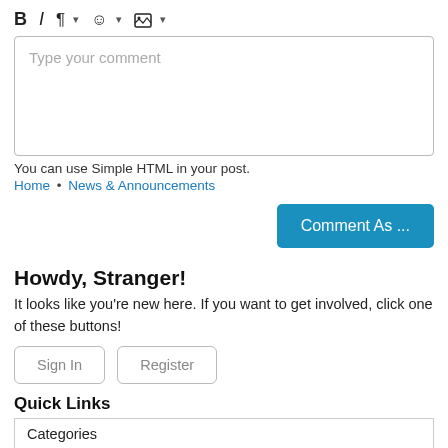[Figure (screenshot): Toolbar with formatting buttons: Bold (B), Italic (I), Paragraph symbol with dropdown, Smiley face with dropdown, Image icon with dropdown]
[Figure (screenshot): Comment text input box with placeholder text 'Type your comment']
You can use Simple HTML in your post.
Home • News & Announcements
[Figure (screenshot): Comment As ... button in teal/blue color]
Howdy, Stranger!
It looks like you're new here. If you want to get involved, click one of these buttons!
[Figure (screenshot): Sign In and Register outline buttons]
Quick Links
| Categories |
| --- |